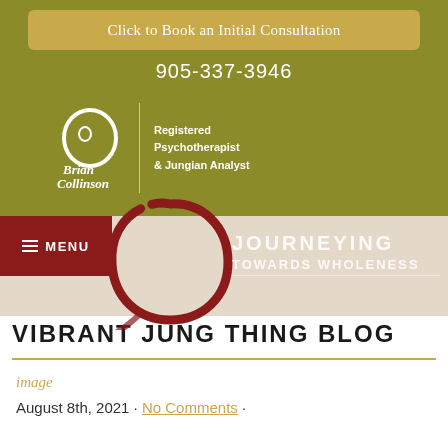[Figure (screenshot): Yellow/gold rounded button with text Click to Book an Initial Consultation on olive green background]
Click to Book an Initial Consultation
905-337-3946
[Figure (logo): Brian Collinson logo with cursive text and Q symbol, with divider and text Registered Psychotherapist & Jungian Analyst]
[Figure (illustration): Red enso/zen circle brush stroke with JOURNEYING TOWARDS WHOLENESS text on beige navigation bar]
VIBRANT JUNG THING BLOG
image
August 8th, 2021 · No Comments ·